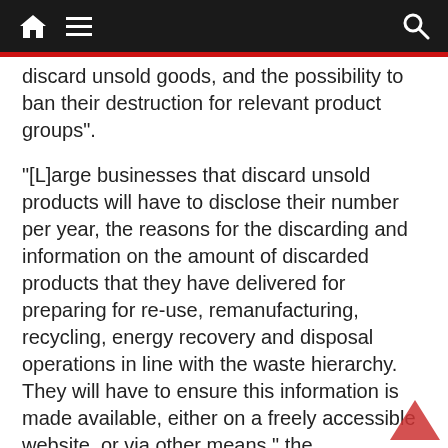Navigation bar with home, menu, and search icons
discard unsold goods, and the possibility to ban their destruction for relevant product groups”.
“[L]arge businesses that discard unsold products will have to disclose their number per year, the reasons for the discarding and information on the amount of discarded products that they have delivered for preparing for re-use, remanufacturing, recycling, energy recovery and disposal operations in line with the waste hierarchy. They will have to ensure this information is made available, either on a freely accessible website, or via other means,” the Commission writes.
“This measure will apply to all concerned economic operators as soon as the regulation enters into